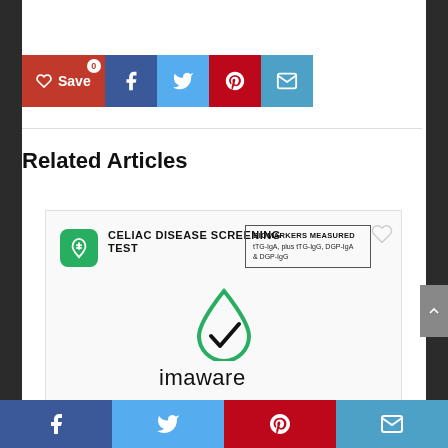[Figure (infographic): Social share buttons: red Save button with heart icon and badge '0', blue Facebook button, light blue Twitter button, red Pinterest button, light blue email button]
Related Articles
[Figure (infographic): imaware Celiac Disease Screening Test product card showing green wheat icon, CELIAC DISEASE SCREENING TEST text, BIOMARKERS MEASURED box listing tTG-IgA, plus tTG-IgG, DGP-IgA & DGP-IgG, a heart/save icon, and the imaware logo with checkmark droplet symbol]
[Figure (infographic): Bottom share bar with Facebook, Twitter, Pinterest, and email icons in blue, light blue, red, and light blue sections]